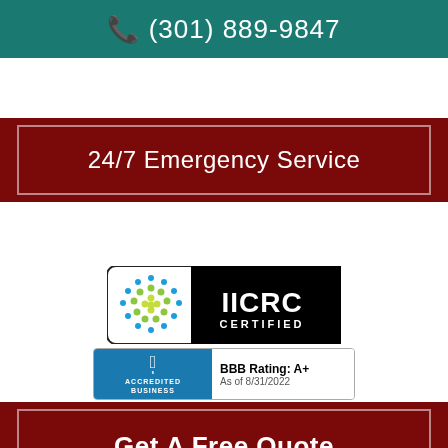(301) 889-9847
24/7 Emergency Service
[Figure (logo): IICRC Certified badge with green globe logo on white left panel and IICRC CERTIFIED text in white on black right panel]
[Figure (logo): BBB Accredited Business badge with BBB symbol on blue left panel, BBB Rating: A+ As of 8/31/2022 on white right panel]
Get A Free Quote